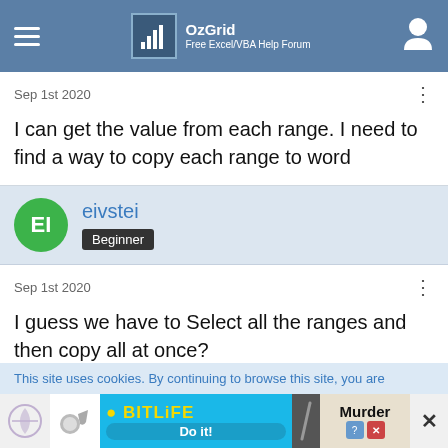OzGrid Free Excel/VBA Help Forum
Sep 1st 2020
I can get the value from each range. I need to find a way to copy each range to word
eivstei Beginner
Sep 1st 2020
I guess we have to Select all the ranges and then copy all at once?
This site uses cookies. By continuing to browse this site, you are
[Figure (other): BitLife advertisement banner with Murder Do it! text]